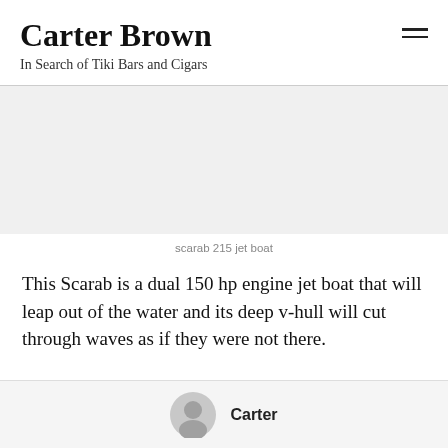Carter Brown
In Search of Tiki Bars and Cigars
[Figure (photo): Empty light gray image placeholder for a scarab 215 jet boat photo]
scarab 215 jet boat
This Scarab is a dual 150 hp engine jet boat that will leap out of the water and its deep v-hull will cut through waves as if they were not there.
Carter